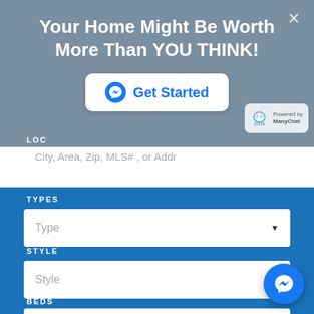Your Home Might Be Worth More Than YOU THINK!
[Figure (screenshot): Facebook Messenger 'Get Started' button with messenger icon on white rounded rectangle card]
[Figure (logo): ManyChat badge with octopus logo and 'Powered by ManyChat' text]
LOC
City, Area, Zip, MLS# , or Addr
TYPES
Type
STYLE
Style
BEDS
Any
[Figure (logo): Facebook Messenger floating action button (circular, blue) in bottom right corner]